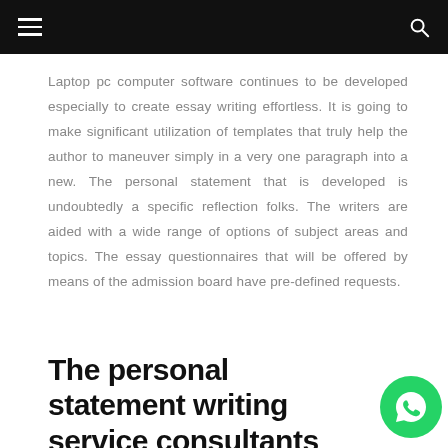navigation header with hamburger menu and search icon
Laptop pc computer software continues to be developed especially to create essay writing effortless. It is going to make significant utilization of templates that truly help the author to maneuver simply in a very one paragraph into a new. The personal statement that is developed is undoubtedly a specific reflection folks. The writers are aided with a wide range of options of subject areas and topics. The essay questionnaires that will be offered by means of the admission board have pre-defined requests.
The personal statement writing service consultants their knowledge and abilities